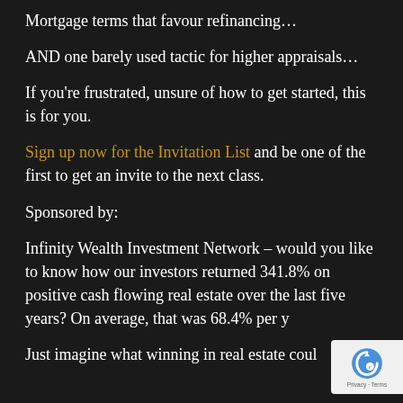Mortgage terms that favour refinancing…
AND one barely used tactic for higher appraisals…
If you're frustrated, unsure of how to get started, this is for you.
Sign up now for the Invitation List and be one of the first to get an invite to the next class.
Sponsored by:
Infinity Wealth Investment Network – would you like to know how our investors returned 341.8% on positive cash flowing real estate over the last five years? On average, that was 68.4% per year.
Just imagine what winning in real estate could do…